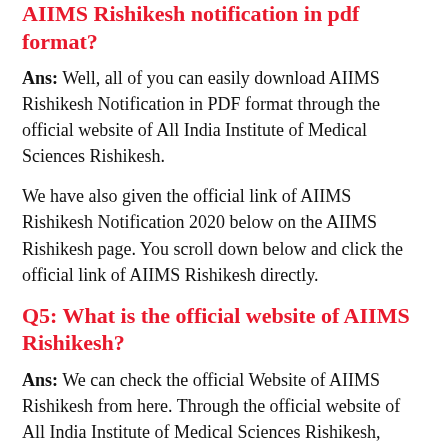AIIMS Rishikesh notification in pdf format?
Ans: Well, all of you can easily download AIIMS Rishikesh Notification in PDF format through the official website of All India Institute of Medical Sciences Rishikesh.
We have also given the official link of AIIMS Rishikesh Notification 2020 below on the AIIMS Rishikesh page. You scroll down below and click the official link of AIIMS Rishikesh directly.
Q5: What is the official website of AIIMS Rishikesh?
Ans: We can check the official Website of AIIMS Rishikesh from here. Through the official website of All India Institute of Medical Sciences Rishikesh,